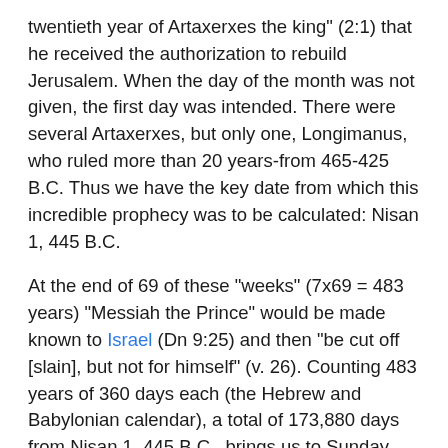twentieth year of Artaxerxes the king" (2:1) that he received the authorization to rebuild Jerusalem. When the day of the month was not given, the first day was intended. There were several Artaxerxes, but only one, Longimanus, who ruled more than 20 years-from 465-425 B.C. Thus we have the key date from which this incredible prophecy was to be calculated: Nisan 1, 445 B.C.
At the end of 69 of these "weeks" (7x69 = 483 years) "Messiah the Prince" would be made known to Israel (Dn 9:25) and then "be cut off [slain], but not for himself" (v. 26). Counting 483 years of 360 days each (the Hebrew and Babylonian calendar), a total of 173,880 days from Nisan 1, 445 B.C., brings us to Sunday, April 6, A.D. 32. On that very day, now celebrated as Palm Sunday, Jesus rode into Jerusalem on a young donkey and was hailed as Messiah the Prince! (Zechariah:9:9 was fulfilled at the same time.)